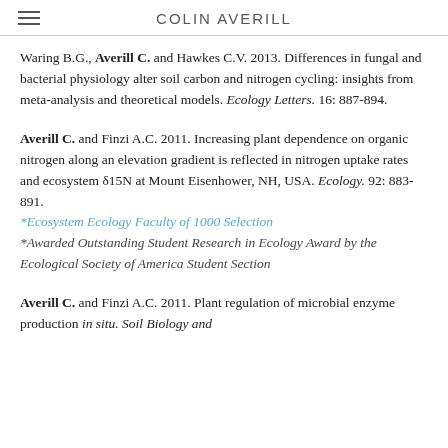COLIN AVERILL
Waring B.G., Averill C. and Hawkes C.V. 2013. Differences in fungal and bacterial physiology alter soil carbon and nitrogen cycling: insights from meta-analysis and theoretical models. Ecology Letters. 16: 887-894.
Averill C. and Finzi A.C. 2011. Increasing plant dependence on organic nitrogen along an elevation gradient is reflected in nitrogen uptake rates and ecosystem δ15N at Mount Eisenhower, NH, USA. Ecology. 92: 883-891. *Ecosystem Ecology Faculty of 1000 Selection *Awarded Outstanding Student Research in Ecology Award by the Ecological Society of America Student Section
Averill C. and Finzi A.C. 2011. Plant regulation of microbial enzyme production in situ. Soil Biology and